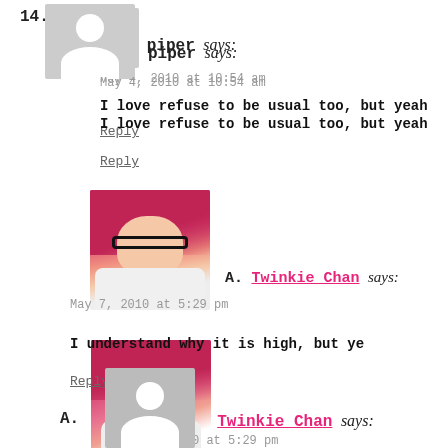14. piper says: May 4, 2010 at 10:54 am — I love refuse to be usual too, but yeah — Reply
A. Twinkie Chan says: May 7, 2010 at 5:29 pm — I understand why it is high, but ye — Reply
[Figure (photo): Profile photo of Twinkie Chan: woman with bright red/pink hair, glasses, wearing white top, pointing finger upward]